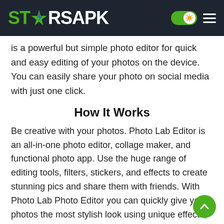STARSAPK
is a powerful but simple photo editor for quick and easy editing of your photos on the device. You can easily share your photo on social media with just one click.
How It Works
Be creative with your photos. Photo Lab Editor is an all-in-one photo editor, collage maker, and functional photo app. Use the huge range of editing tools, filters, stickers, and effects to create stunning pics and share them with friends. With Photo Lab Photo Editor you can quickly give your photos the most stylish look using unique effects, amazing face photo montages, photo frames, animated effects, and realistic photo filters.
Check Also: